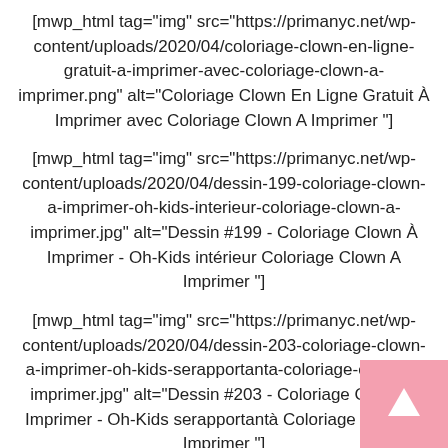[mwp_html tag="img" src="https://primanyc.net/wp-content/uploads/2020/04/coloriage-clown-en-ligne-gratuit-a-imprimer-avec-coloriage-clown-a-imprimer.png" alt="Coloriage Clown En Ligne Gratuit À Imprimer avec Coloriage Clown A Imprimer "]
[mwp_html tag="img" src="https://primanyc.net/wp-content/uploads/2020/04/dessin-199-coloriage-clown-a-imprimer-oh-kids-interieur-coloriage-clown-a-imprimer.jpg" alt="Dessin #199 - Coloriage Clown À Imprimer - Oh-Kids intérieur Coloriage Clown A Imprimer "]
[mwp_html tag="img" src="https://primanyc.net/wp-content/uploads/2020/04/dessin-203-coloriage-clown-a-imprimer-oh-kids-serapportanta-coloriage-clown-a-imprimer.jpg" alt="Dessin #203 - Coloriage Clown À Imprimer - Oh-Kids serapportantà Coloriage Clown A Imprimer "]
[mwp_html tag="img" src="https://primanyc.net/wp-content/uploads/2020/04/dessin-de-halloween-gratuit-a-imprimer-et-colorier-concernant-coloriage-clown-a-imprimer-scaled.jpg" alt="Dessin De Halloween Gratuit À Imprimer Et Colorier concernant